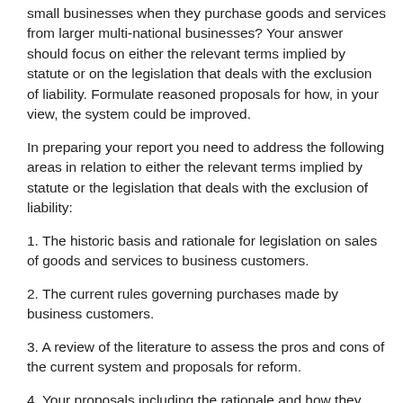small businesses when they purchase goods and services from larger multi-national businesses? Your answer should focus on either the relevant terms implied by statute or on the legislation that deals with the exclusion of liability. Formulate reasoned proposals for how, in your view, the system could be improved.
In preparing your report you need to address the following areas in relation to either the relevant terms implied by statute or the legislation that deals with the exclusion of liability:
1. The historic basis and rationale for legislation on sales of goods and services to business customers.
2. The current rules governing purchases made by business customers.
3. A review of the literature to assess the pros and cons of the current system and proposals for reform.
4. Your proposals including the rationale and how they compare to other jurisdictions.
5. What the sources say about the issue of agreement to this…